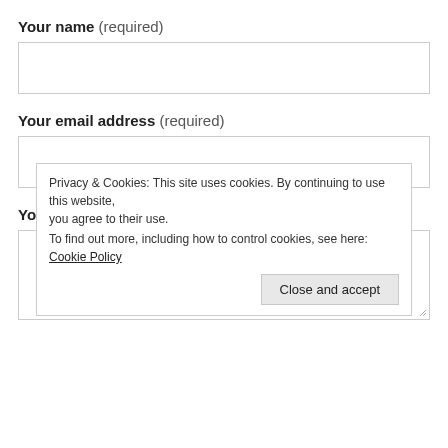Your name (required)
[Figure (other): Empty text input box for name field]
Your email address (required)
[Figure (other): Empty text input box for email address field]
Your message is (required)
[Figure (other): Empty textarea for message field with cookie consent banner overlay. Banner text: Privacy & Cookies: This site uses cookies. By continuing to use this website, you agree to their use. To find out more, including how to control cookies, see here: Cookie Policy. Button: Close and accept.]